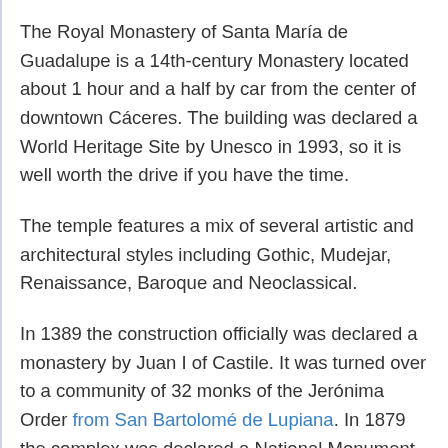The Royal Monastery of Santa María de Guadalupe is a 14th-century Monastery located about 1 hour and a half by car from the center of downtown Cáceres. The building was declared a World Heritage Site by Unesco in 1993, so it is well worth the drive if you have the time.
The temple features a mix of several artistic and architectural styles including Gothic, Mudejar, Renaissance, Baroque and Neoclassical.
In 1389 the construction officially was declared a monastery by Juan I of Castile. It was turned over to a community of 32 monks of the Jerónima Order from San Bartolomé de Lupiana. In 1879 the complex was declared a National Monument by Alfonso XIII and turned over to the Franciscan friars, and Pope Pius XII, in 1955, elevated the sanctuary to the status of a basilica.